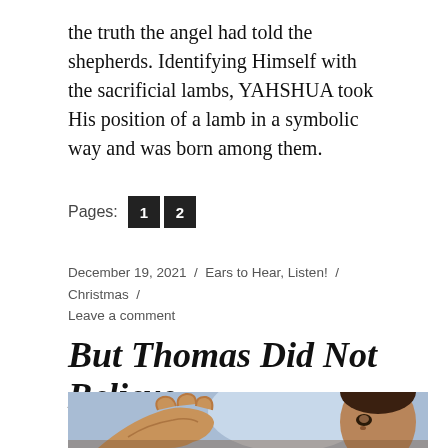the truth the angel had told the shepherds. Identifying Himself with the sacrificial lambs, YAHSHUA took His position of a lamb in a symbolic way and was born among them.
Pages: 1 2
December 19, 2021 / Ears to Hear, Listen! / Christmas / Leave a comment
But Thomas Did Not Believe
[Figure (illustration): Partial illustration showing a figure with outstretched hand and a face looking upward, rendered in painterly style with blue and brown tones.]